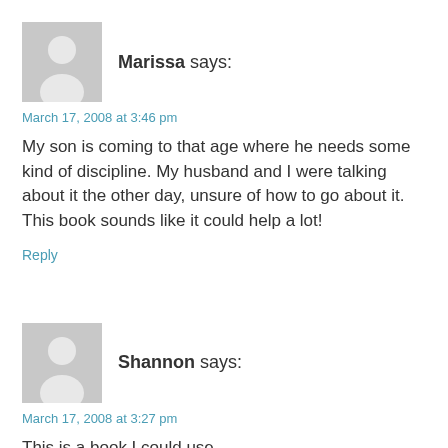Marissa says:
March 17, 2008 at 3:46 pm
My son is coming to that age where he needs some kind of discipline. My husband and I were talking about it the other day, unsure of how to go about it. This book sounds like it could help a lot!
Reply
Shannon says:
March 17, 2008 at 3:27 pm
This is a book I could use